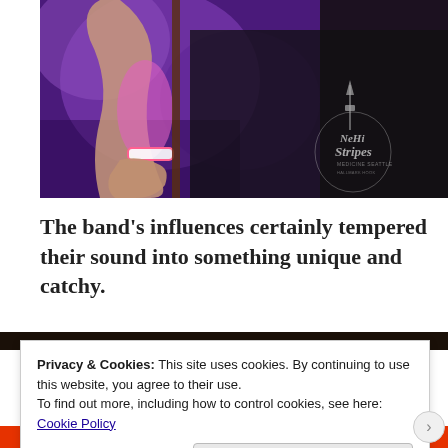[Figure (photo): A concert photo showing a person's arm with a pink wristband playing guitar under purple stage lighting. Person is wearing a dark shirt with a 'NeHi Stripes' logo visible on the right side of the image.]
The band's influences certainly tempered their sound into something unique and catchy.
[Figure (photo): Partial view of another concert photo, mostly obscured by the cookie consent banner.]
Privacy & Cookies: This site uses cookies. By continuing to use this website, you agree to their use.
To find out more, including how to control cookies, see here:
Cookie Policy